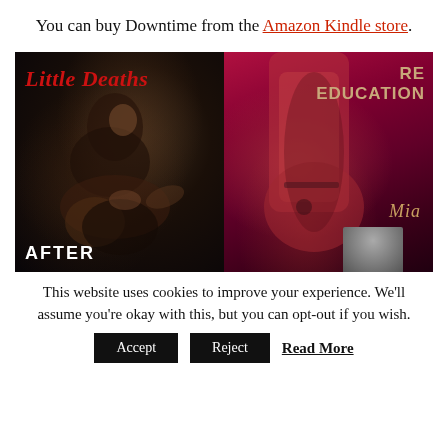You can buy Downtime from the Amazon Kindle store.
[Figure (photo): Two book covers side by side: left cover 'Little Deaths' showing a couple in dark romantic/gothic style with text 'AFTER' at bottom; right cover 'Re-Education' by Mia showing a red-toned figure with partial third book visible at bottom right.]
This website uses cookies to improve your experience. We'll assume you're okay with this, but you can opt-out if you wish.
Accept   Reject   Read More